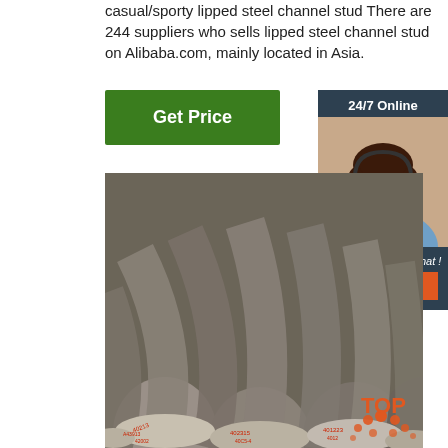casual/sporty lipped steel channel stud There are 244 suppliers who sells lipped steel channel stud on Alibaba.com, mainly located in Asia.
[Figure (screenshot): Green 'Get Price' button]
[Figure (screenshot): Sidebar with '24/7 Online' header, customer service representative photo, 'Click here for free chat!' text, and orange 'QUOTATION' button on dark background]
[Figure (photo): Photo of steel round bar rods with red markings on ends, stacked together]